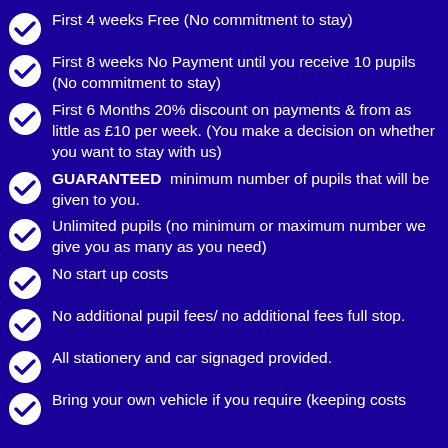First 4 weeks Free (No commitment to stay)
First 8 weeks No Payment until you receive 10 pupils (No commitment to stay)
First 6 Months 20% discount on payments & from as little as £10 per week. (You make a decision on whether you want to stay with us)
GUARANTEED minimum number of pupils that will be given to you.
Unlimited pupils (no minimum or maximum number we give you as many as you need)
No start up costs
No additional pupil fees/ no additional fees full stop.
All stationery and car signaged provided.
Bring your own vehicle if you require (keeping costs